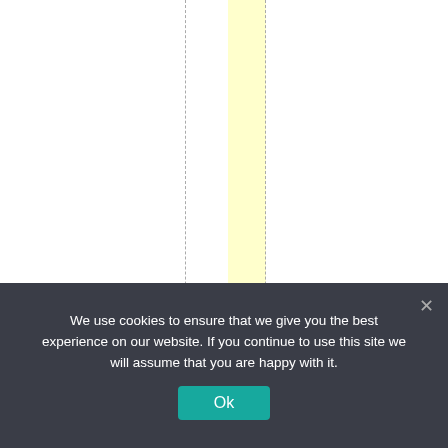ay 26, 2022 at 3:22 am
We use cookies to ensure that we give you the best experience on our website. If you continue to use this site we will assume that you are happy with it.
Ok